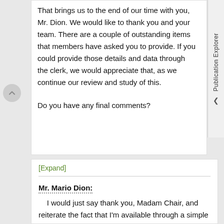That brings us to the end of our time with you, Mr. Dion. We would like to thank you and your team. There are a couple of outstanding items that members have asked you to provide. If you could provide those details and data through the clerk, we would appreciate that, as we continue our review and study of this.
Do you have any final comments?
[Expand]
Mr. Mario Dion:
I would just say thank you, Madam Chair, and reiterate the fact that I'm available through a simple call whenever you need me.